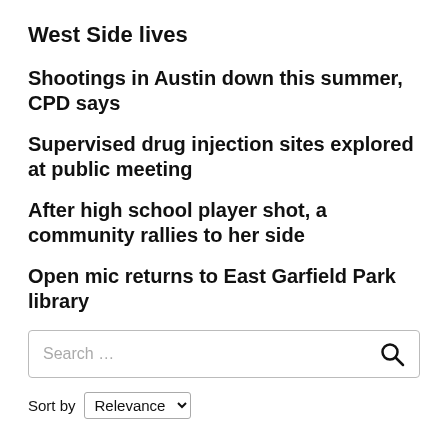West Side lives
Shootings in Austin down this summer, CPD says
Supervised drug injection sites explored at public meeting
After high school player shot, a community rallies to her side
Open mic returns to East Garfield Park library
Search …
Sort by Relevance